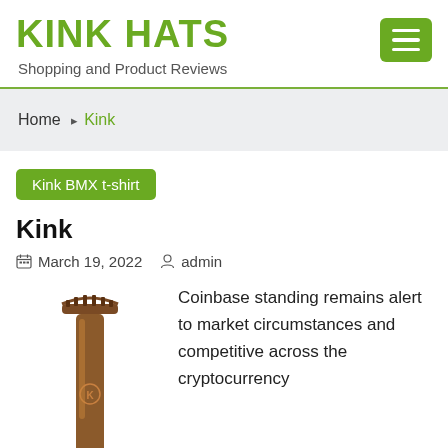KINK HATS
Shopping and Product Reviews
Home › Kink
Kink BMX t-shirt
Kink
March 19, 2022   admin
[Figure (photo): A brown BMX bike seat post with a Kink logo, photographed vertically against a white background.]
Coinbase standing remains alert to market circumstances and competitive across the cryptocurrency